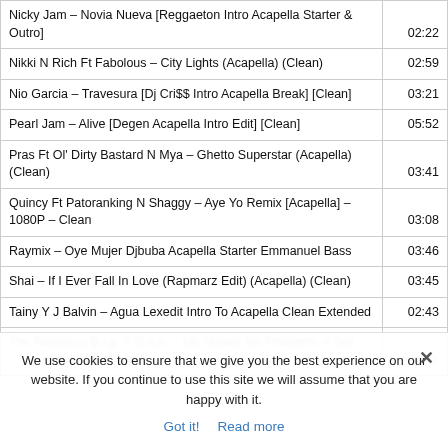| Track | Duration |
| --- | --- |
| Nicky Jam – Novia Nueva [Reggaeton Intro Acapella Starter & Outro] | 02:22 |
| Nikki N Rich Ft Fabolous – City Lights (Acapella) (Clean) | 02:59 |
| Nio Garcia – Travesura [Dj Cri$$ Intro Acapella Break] [Clean] | 03:21 |
| Pearl Jam – Alive [Degen Acapella Intro Edit] [Clean] | 05:52 |
| Pras Ft Ol' Dirty Bastard N Mya – Ghetto Superstar (Acapella) (Clean) | 03:41 |
| Quincy Ft Patoranking N Shaggy – Aye Yo Remix [Acapella] – 1080P – Clean | 03:08 |
| Raymix – Oye Mujer Djbuba Acapella Starter Emmanuel Bass | 03:46 |
| Shai – If I Ever Fall In Love (Rapmarz Edit) (Acapella) (Clean) | 03:45 |
| Tainy Y J Balvin – Agua Lexedit Intro To Acapella Clean Extended | 02:43 |
| The Notorious B.i.g. X O.d.b. – Mo Money Mo Problems X Got … | 03:31 |
We use cookies to ensure that we give you the best experience on our website. If you continue to use this site we will assume that you are happy with it.